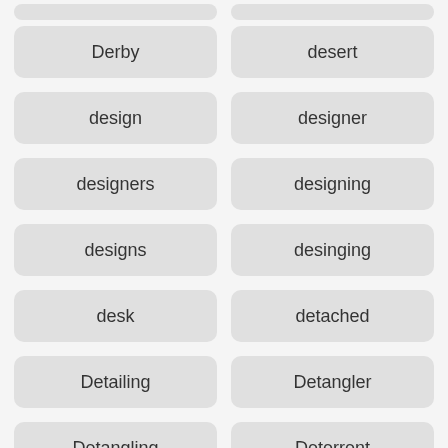Derby
desert
design
designer
designers
designing
designs
desinging
desk
detached
Detailing
Detangler
Detangling
Deterrent
development
Devil
Deville
diana